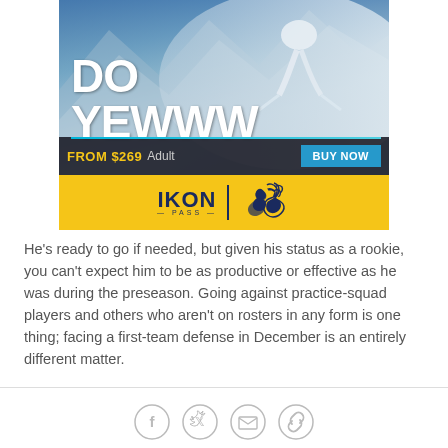[Figure (advertisement): Ikon Pass ski advertisement showing skier on snowy mountain slope. Large white bold text reads 'DO YEWWW', price bar shows 'FROM $269 Adult' with 'BUY NOW' button in cyan/teal. Bottom yellow bar shows IKON PASS logo and Denver Broncos horse logo.]
He's ready to go if needed, but given his status as a rookie, you can't expect him to be as productive or effective as he was during the preseason. Going against practice-squad players and others who aren't on rosters in any form is one thing; facing a first-team defense in December is an entirely different matter.
[Figure (infographic): Social sharing icons row: Facebook (f), Twitter (bird), Email (envelope), Link/chain icon — all in light gray circle outlines.]